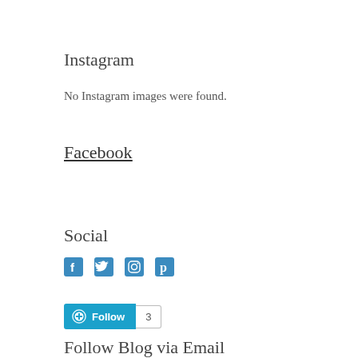Instagram
No Instagram images were found.
Facebook
Social
[Figure (infographic): Social media icons: Facebook, Twitter, Instagram, Pinterest in teal/blue color]
[Figure (infographic): WordPress Follow button with count badge showing 3]
Follow Blog via Email